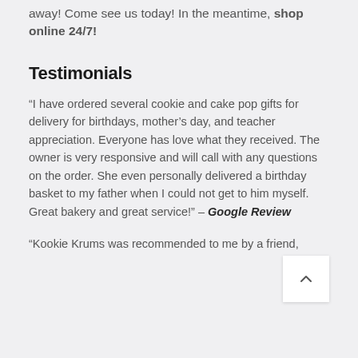away! Come see us today! In the meantime, shop online 24/7!
Testimonials
“I have ordered several cookie and cake pop gifts for delivery for birthdays, mother’s day, and teacher appreciation. Everyone has love what they received. The owner is very responsive and will call with any questions on the order. She even personally delivered a birthday basket to my father when I could not get to him myself. Great bakery and great service!” – Google Review
“Kookie Krums was recommended to me by a friend,